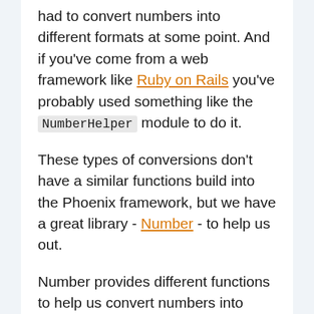had to convert numbers into different formats at some point. And if you've come from a web framework like Ruby on Rails you've probably used something like the NumberHelper module to do it.
These types of conversions don't have a similar functions build into the Phoenix framework, but we have a great library - Number - to help us out.
Number provides different functions to help us convert numbers into different formats. The Number library is broken into